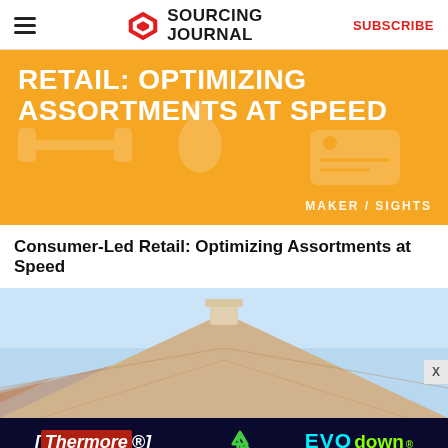SOURCING JOURNAL  SUBSCRIBE
[Figure (illustration): Orange hero banner with bold white text: RETAIL: OPTIMIZING ASSORTMENTS AT SPEED, with MAKER/SIGHTS label and decorative faded icons]
Consumer-Led Retail: Optimizing Assortments at Speed
[Figure (photo): Rooftop of a building with terracotta tiles against a light blue sky]
[Figure (illustration): Advertisement banner for Thermore EVO down - Insulation Experts Since 1972, Fully Recycled, on dark navy background]